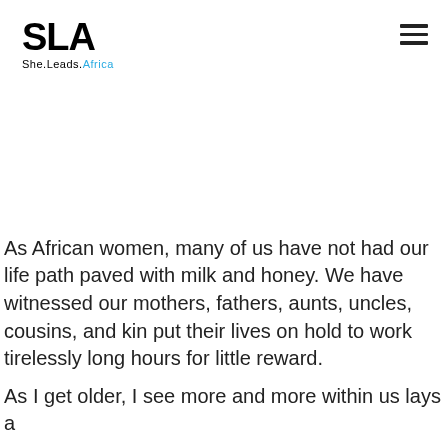SLA She.Leads.Africa
As African women, many of us have not had our life path paved with milk and honey. We have witnessed our mothers, fathers, aunts, uncles, cousins, and kin put their lives on hold to work tirelessly long hours for little reward.
As I get older, I see more and more within us lays a